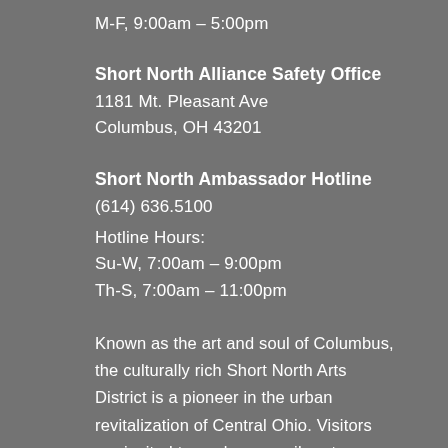M-F, 9:00am – 5:00pm
Short North Alliance Safety Office
1181 Mt. Pleasant Ave
Columbus, OH 43201
Short North Ambassador Hotline
(614) 636.5100
Hotline Hours:
Su-W, 7:00am – 9:00pm
Th-S, 7:00am – 11:00pm
Known as the art and soul of Columbus, the culturally rich Short North Arts District is a pioneer in the urban revitalization of Central Ohio. Visitors are invited to explore our vibrant neighborhood known for its wide variety of amazing art, dining, nightlife, fashion, home décor, and unique gifts.